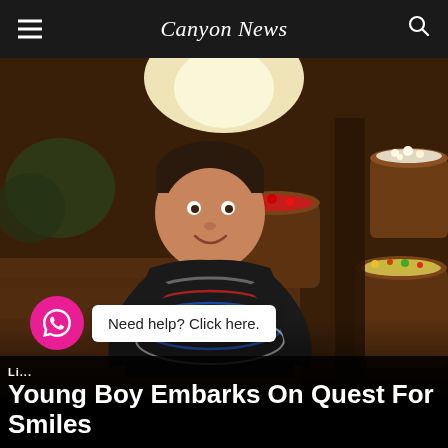Canyon News
[Figure (photo): A young boy smiling, wearing a black t-shirt and colorful beaded necklaces, standing in what appears to be a candy store with barrels of colorful candies and popcorn around him. The photo is slightly dark with a bright light source visible in the background.]
Li... Need help? Click here.
Young Boy Embarks On Quest For Smiles